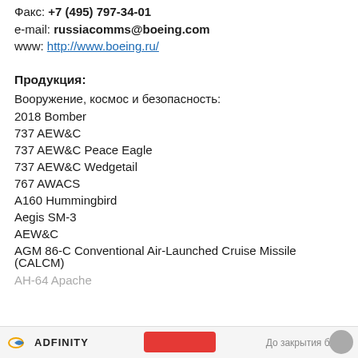Факс: +7 (495) 797-34-01
e-mail: russiacomms@boeing.com
www: http://www.boeing.ru/
Продукция:
Вооружение, космос и безопасность:
2018 Bomber
737 AEW&C
737 AEW&C Peace Eagle
737 AEW&C Wedgetail
767 AWACS
A160 Hummingbird
Aegis SM-3
AEW&C
AGM 86-C Conventional Air-Launched Cruise Missile (CALCM)
AH-64 Apache
ADFINITY  До закрытия блока